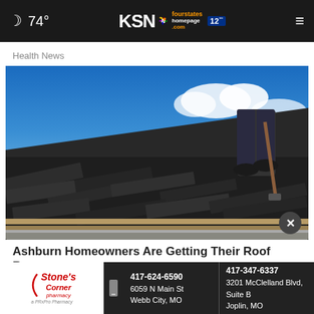🌙 74° | KSN fourstates homepage.com 12 | ☰
Health News
[Figure (photo): A worker on a roof removing old dark shingles with a tool, blue sky and clouds in the background, exposed wood planks visible at the bottom of the roof.]
Ashburn Homeowners Are Getting Their Roof Rep...
Smart consumers square
[Figure (infographic): Stone's Corner Pharmacy advertisement banner. Left side shows logo with red italic text. Center shows 417-624-6590, 6059 N Main St, Webb City, MO. Right side shows 417-347-6337, 3201 McClelland Blvd, Suite B, Joplin, MO.]